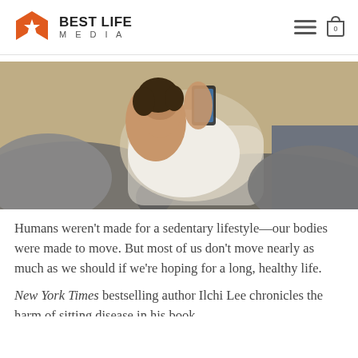BEST LIFE MEDIA
[Figure (photo): Young man with curly dark hair lying on a couch looking at his phone, wearing a white t-shirt, casual indoor setting]
Humans weren't made for a sedentary lifestyle—our bodies were made to move. But most of us don't move nearly as much as we should if we're hoping for a long, healthy life.
New York Times bestselling author Ilchi Lee chronicles the harm of sitting disease in his book